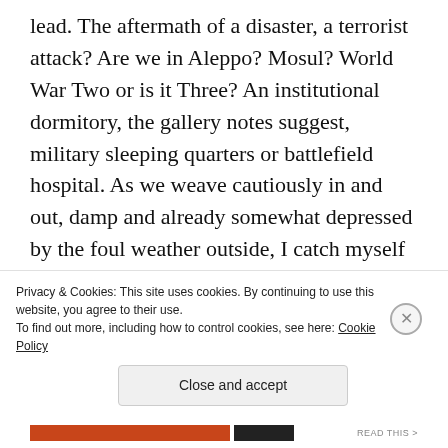lead. The aftermath of a disaster, a terrorist attack? Are we in Aleppo? Mosul? World War Two or is it Three? An institutional dormitory, the gallery notes suggest, military sleeping quarters or battlefield hospital. As we weave cautiously in and out, damp and already somewhat depressed by the foul weather outside, I catch myself thinking, not too flippantly, of some not-too-distant outpost of the NHS.
At the far end of the corridor, a much enlarged
Privacy & Cookies: This site uses cookies. By continuing to use this website, you agree to their use.
To find out more, including how to control cookies, see here: Cookie Policy
Close and accept